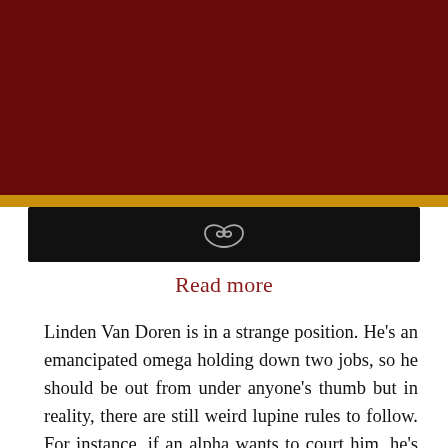[Figure (other): Dark red background header area with gold stripe and black banner below. A small decorative curl/swirl SVG icon appears centered on the black banner.]
Read more
Linden Van Doren is in a strange position. He's an emancipated omega holding down two jobs, so he should be out from under anyone's thumb but in reality, there are still weird lupine rules to follow. For instance, if an alpha wants to court him, he's not allowed to say no. If that same alpha asks for his hand in bonding, however, as there's no contract that anyone holds but him, he can certainly say no to that. And would. He trusts no alpha to keep their word even though they're the only ones who could make his dreams come true. It's all very confusing